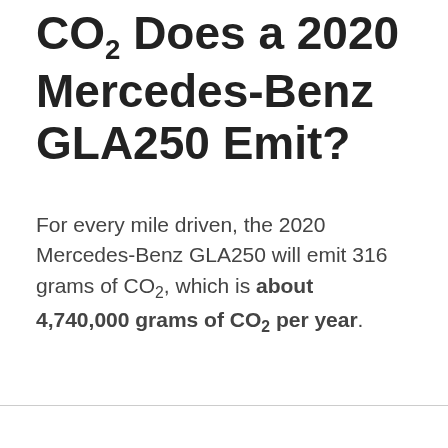CO₂ Does a 2020 Mercedes-Benz GLA250 Emit?
For every mile driven, the 2020 Mercedes-Benz GLA250 will emit 316 grams of CO₂, which is about 4,740,000 grams of CO₂ per year.